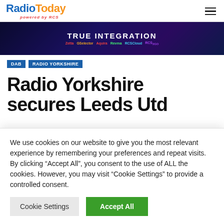[Figure (logo): RadioToday logo with RCS powered by text beneath]
[Figure (infographic): RCS True Integration banner ad showing product names: Zetta (Automation), GSelector (Music Scheduling), Aquira (Traffic), Revma (Streaming), RCSCloud (Peace of Mind), RCS2GO (Mobile)]
DAB
RADIO YORKSHIRE
Radio Yorkshire secures Leeds Utd
We use cookies on our website to give you the most relevant experience by remembering your preferences and repeat visits. By clicking “Accept All”, you consent to the use of ALL the cookies. However, you may visit “Cookie Settings” to provide a controlled consent.